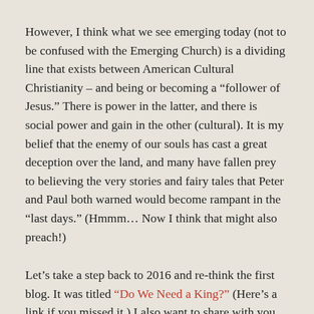However, I think what we see emerging today (not to be confused with the Emerging Church) is a dividing line that exists between American Cultural Christianity – and being or becoming a “follower of Jesus.” There is power in the latter, and there is social power and gain in the other (cultural). It is my belief that the enemy of our souls has cast a great deception over the land, and many have fallen prey to believing the very stories and fairy tales that Peter and Paul both warned would become rampant in the “last days.” (Hmmm… Now I think that might also preach!)
Let’s take a step back to 2016 and re-think the first blog. It was titled “Do We Need a King?” (Here’s a link if you missed it.) I also want to share with you some observations about the way the “Trump Prophecy” and the coining of “Cyrus Trump” came into focus in a large swath of the Christian community. The effects of this without doubt had a very significant impact on